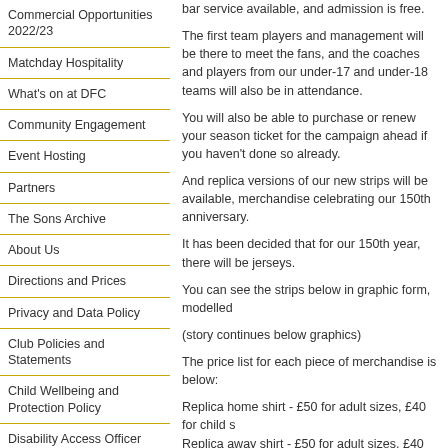Commercial Opportunities 2022/23
Matchday Hospitality
What's on at DFC
Community Engagement
Event Hosting
Partners
The Sons Archive
About Us
Directions and Prices
Privacy and Data Policy
Club Policies and Statements
Child Wellbeing and Protection Policy
Disability Access Officer
The Fans
Resident Poet
Ground Regulations
Supporters Trust
bar service available, and admission is free.
The first team players and management will be there to meet the fans, and the coaches and players from our under-17 and under-18 teams will also be in attendance.
You will also be able to purchase or renew your season ticket for the campaign ahead if you haven't done so already.
And replica versions of our new strips will be available, merchandise celebrating our 150th anniversary.
It has been decided that for our 150th year, there will be jerseys.
You can see the strips below in graphic form, modelled
(story continues below graphics)
The price list for each piece of merchandise is below:
Replica home shirt - £50 for adult sizes, £40 for child s Replica away shirt - £50 for adult sizes, £40 for child s DFC 150th polo shirt - £19 (available in gold or black) DFC 150th scarf - £9